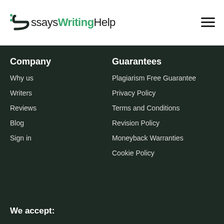[Figure (logo): EssaysWritingHelp logo with icon and text]
Company
Why us
Writers
Reviews
Blog
Sign in
Guarantees
Plagiarism Free Guarantee
Privacy Policy
Terms and Conditions
Revision Policy
Moneyback Warranties
Cookie Policy
We accept: